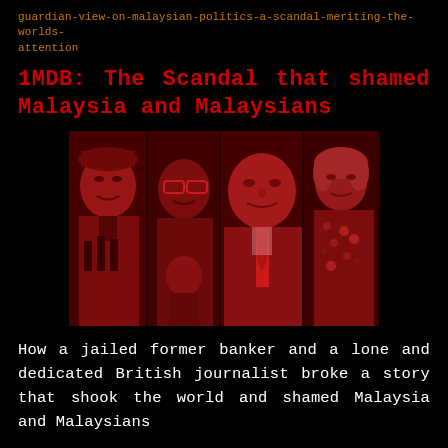guardian-view-on-malaysian-politics-a-scandal-meriting-the-worlds-attention
1MDB: The Scandal that shamed Malaysia and Malaysians
[Figure (photo): Red-toned composite photo of four people associated with the 1MDB scandal: a Malaysian man in traditional dress at a press conference, a man in glasses, a heavyset Asian man wearing a conference lanyard and tie, and a Western woman with short hair.]
How a jailed former banker and a lone and dedicated British journalist broke a story that shook the world and shamed Malaysia and Malaysians